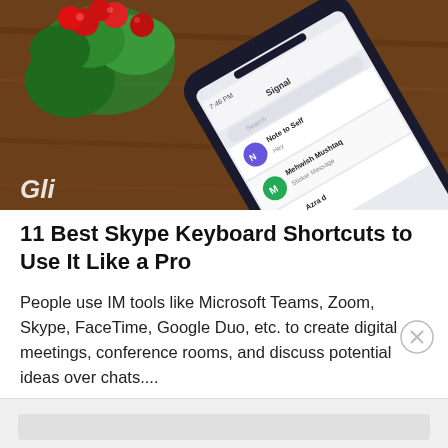[Figure (photo): A smartphone displaying the Signal messaging app screen, lying on a wooden table next to a small decorative plant with red berries. The phone shows a chat list with contacts.]
11 Best Skype Keyboard Shortcuts to Use It Like a Pro
People use IM tools like Microsoft Teams, Zoom, Skype, FaceTime, Google Duo, etc. to create digital meetings, conference rooms, and discuss potential ideas over chats....